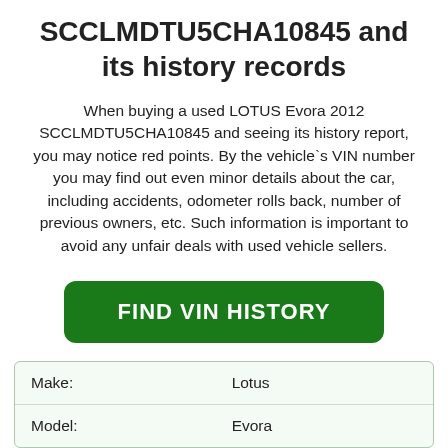SCCLMDTU5CHA10845 and its history records
When buying a used LOTUS Evora 2012 SCCLMDTU5CHA10845 and seeing its history report, you may notice red points. By the vehicle`s VIN number you may find out even minor details about the car, including accidents, odometer rolls back, number of previous owners, etc. Such information is important to avoid any unfair deals with used vehicle sellers.
[Figure (other): Green button labeled FIND VIN HISTORY]
| Make: | Lotus |
| Model: | Evora |